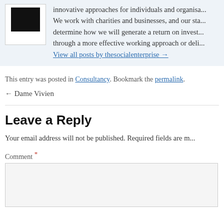innovative approaches for individuals and organisations. We work with charities and businesses, and our sta... determine how we will generate a return on invest... through a more effective working approach or deli...
View all posts by thesocialenterprise →
This entry was posted in Consultancy. Bookmark the permalink.
← Dame Vivien
Leave a Reply
Your email address will not be published. Required fields are m...
Comment *